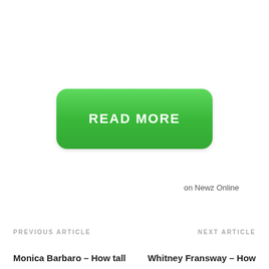[Figure (other): Green rounded rectangle button with white bold text 'READ MORE']
on Newz Online
PREVIOUS ARTICLE
NEXT ARTICLE
Monica Barbaro – How tall
Whitney Fransway – How